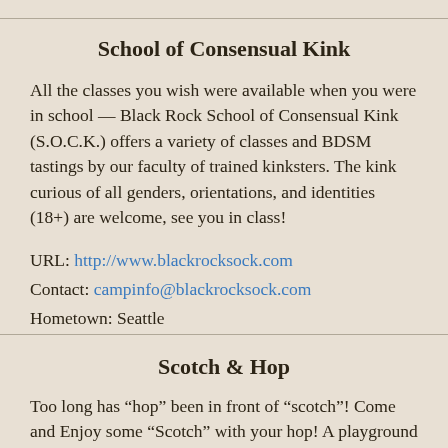School of Consensual Kink
All the classes you wish were available when you were in school — Black Rock School of Consensual Kink (S.O.C.K.) offers a variety of classes and BDSM tastings by our faculty of trained kinksters. The kink curious of all genders, orientations, and identities (18+) are welcome, see you in class!
URL: http://www.blackrocksock.com
Contact: campinfo@blackrocksock.com
Hometown: Seattle
Scotch & Hop
Too long has “hop” been in front of “scotch”! Come and Enjoy some “Scotch” with your hop! A playground for